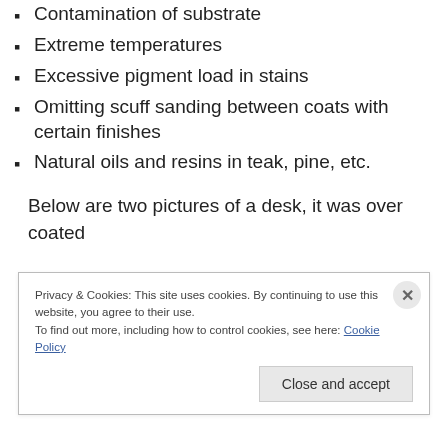Contamination of substrate
Extreme temperatures
Excessive pigment load in stains
Omitting scuff sanding between coats with certain finishes
Natural oils and resins in teak, pine, etc.
Below are two pictures of a desk, it was over coated
Privacy & Cookies: This site uses cookies. By continuing to use this website, you agree to their use.
To find out more, including how to control cookies, see here: Cookie Policy